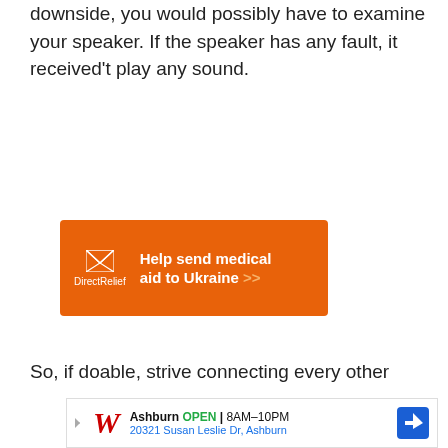downside, you would possibly have to examine your speaker. If the speaker has any fault, it received't play any sound.
[Figure (infographic): Direct Relief orange advertisement banner: logo with envelope icon and 'Direct Relief' text, bold white text 'Help send medical aid to Ukraine >>']
So, if doable, strive connecting every other
[Figure (infographic): Walgreens advertisement: Ashburn location, OPEN 8AM-10PM, 20321 Susan Leslie Dr, Ashburn, with navigation arrow icon]